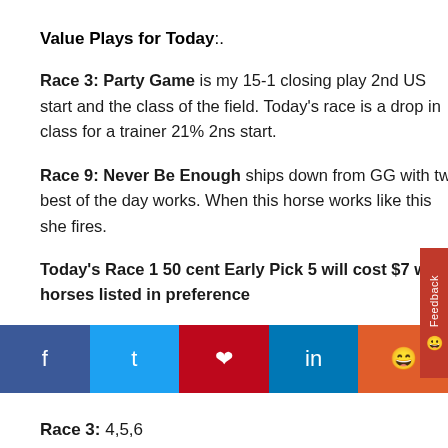Value Plays for Today:.
Race 3: Party Game is my 15-1 closing play 2nd US start and the class of the field. Today's race is a drop in class for a trainer 21% 2ns start.
Race 9: Never Be Enough ships down from GG with two best of the day works. When this horse works like this she fires.
Today's Race 1 50 cent Early Pick 5 will cost $7 with horses listed in preference
Race 1: 8,2,6,3
Race 2: 2,4,2
Race 3: 4,5,6